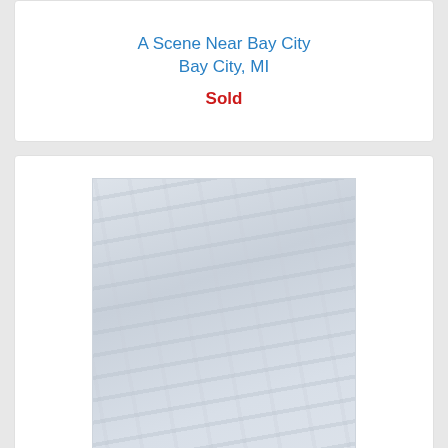A Scene Near Bay City
Bay City, MI
Sold
[Figure (photo): Faded/washed out artwork image showing trees or natural scene, very light tones]
Along The Shire, Saginaw Bay
Bay City, MI
Sold